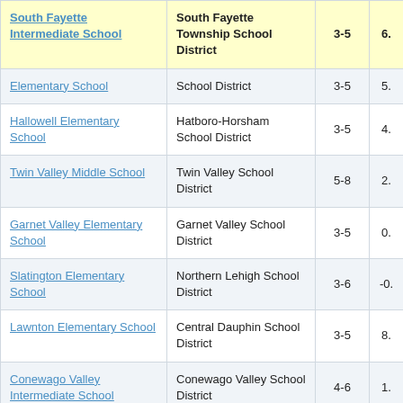| School | District | Grades | Score |
| --- | --- | --- | --- |
| South Fayette Intermediate School | South Fayette Township School District | 3-5 | 6. |
| Elementary School | School District | 3-5 | 5. |
| Hallowell Elementary School | Hatboro-Horsham School District | 3-5 | 4. |
| Twin Valley Middle School | Twin Valley School District | 5-8 | 2. |
| Garnet Valley Elementary School | Garnet Valley School District | 3-5 | 0. |
| Slatington Elementary School | Northern Lehigh School District | 3-6 | -0. |
| Lawnton Elementary School | Central Dauphin School District | 3-5 | 8. |
| Conewago Valley Intermediate School | Conewago Valley School District | 4-6 | 1. |